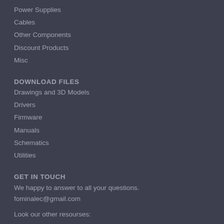Power Supplies
Cables
Other Components
Discount Products
Misc
DOWNLOAD FILES
Drawings and 3D Models
Drivers
Firmware
Manuals
Schematics
Utilities
GET IN TOUCH
We happy to answer to all your questions.
fominalec@gmail.com
Look our other resourses: